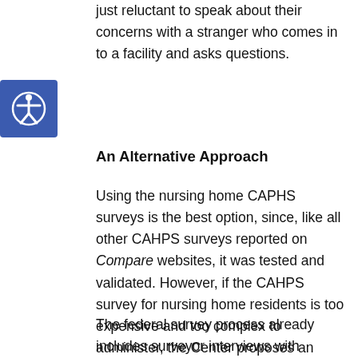just reluctant to speak about their concerns with a stranger who comes in to a facility and asks questions.
[Figure (other): Accessibility icon button — circular figure with arms and legs outstretched inside a blue square badge]
An Alternative Approach
Using the nursing home CAPHS surveys is the best option, since, like all other CAHPS surveys reported on Compare websites, it was tested and validated. However, if the CAHPS survey for nursing home residents is too expensive and too complex to administer, the Center proposes an alternative method for soliciting and reporting residents’ experiences – the federal survey process.
The federal survey process already includes surveyor interviews with residents[17] and